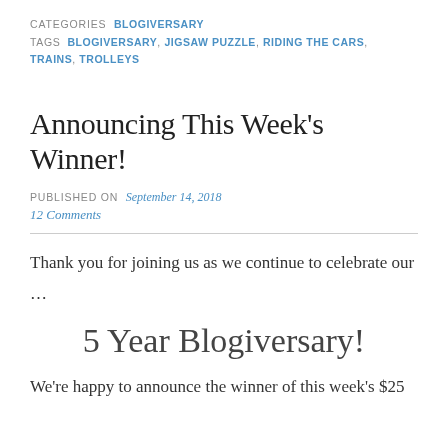CATEGORIES BLOGIVERSARY
TAGS BLOGIVERSARY, JIGSAW PUZZLE, RIDING THE CARS, TRAINS, TROLLEYS
Announcing This Week's Winner!
PUBLISHED ON September 14, 2018
12 Comments
Thank you for joining us as we continue to celebrate our
…
5 Year Blogiversary!
We're happy to announce the winner of this week's $25